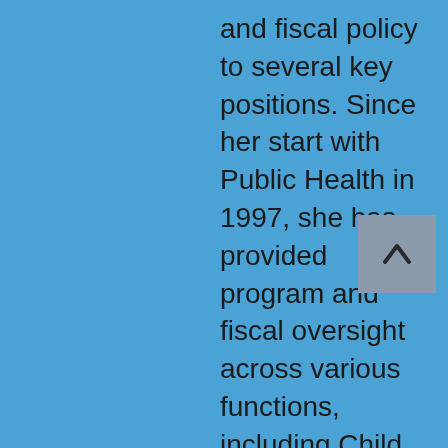and fiscal policy to several key positions. Since her start with Public Health in 1997, she has provided program and fiscal oversight across various functions, including Child and Family Health and Ryan White services. Raymundo served as the primary healthcare analyst at the County Administrative Office, ensuring the fiscal health of the three healthcare Departments, including Public Health, Behavioral Health and Arrowhead Regional Medical Center. Raymundo was appointed as Public Health Director in 2012. She currently Chairs the San Bernardino County, Reentry Collaborative, and in conjunction with the County's Probation department and a diverse set of county stakeholders, helped to